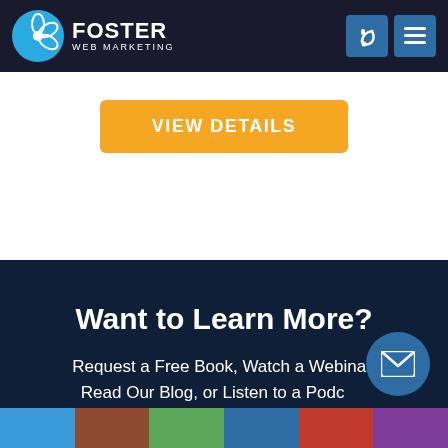[Figure (logo): Foster Web Marketing logo with blue circle atomic/flower icon and white text 'FOSTER WEB MARKETING' on dark navy header]
[Figure (other): Phone icon button (blue square) and hamburger menu icon button (blue square) in top right header]
VIEW DETAILS
Want to Learn More?
Request a Free Book, Watch a Webinar, Read Our Blog, or Listen to a Podcast
[Figure (other): Blue circular email/envelope floating action button in bottom right]
[Figure (photo): Colorful image strip at the very bottom of the page showing multiple photos/thumbnails]